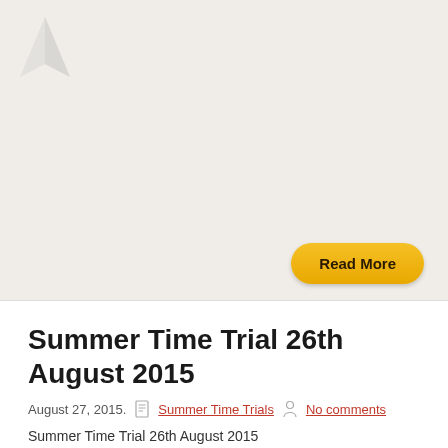[Figure (photo): Blank/light beige map or image area with a small map icon triangle in the top-left corner. A 'Read More' button in golden-yellow with rounded corners is positioned at the bottom-right of the image area.]
Summer Time Trial 26th August 2015
August 27, 2015.  Summer Time Trials  No comments
Summer Time Trial 26th August 2015
After a day of torrential rain, and facing fading light, 12 runners